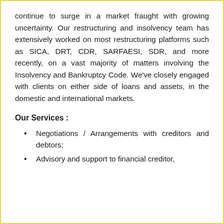continue to surge in a market fraught with growing uncertainty. Our restructuring and insolvency team has extensively worked on most restructuring platforms such as SICA, DRT, CDR, SARFAESI, SDR, and more recently, on a vast majority of matters involving the Insolvency and Bankruptcy Code. We've closely engaged with clients on either side of loans and assets, in the domestic and international markets.
Our Services :
Negotiations / Arrangements with creditors and debtors;
Advisory and support to financial creditor,